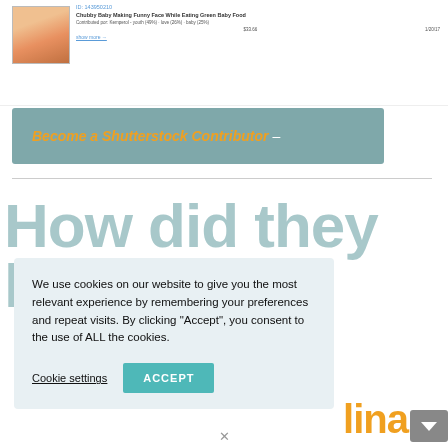[Figure (screenshot): Screenshot of a Shutterstock contributor page showing a baby thumbnail image with title 'Chubby Baby Making Funny Face While Eating Green Baby Food', metadata including contributor info, price $33.66, and a 'show more' link]
[Figure (infographic): Teal/blue-green banner with orange bold italic text 'Become a Shutterstock Contributor' followed by a dash]
How did they
h
We use cookies on our website to give you the most relevant experience by remembering your preferences and repeat visits. By clicking “Accept”, you consent to the use of ALL the cookies.
Cookie settings
ACCEPT
lina